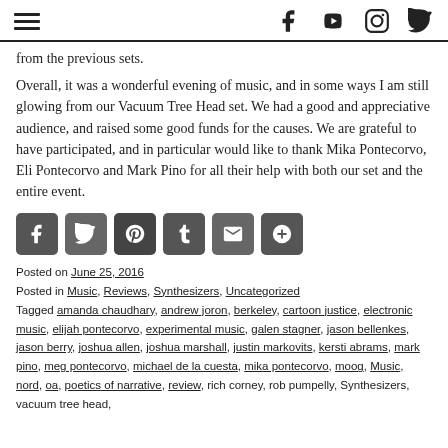[hamburger menu] [facebook] [youtube] [instagram] [twitter]
from the previous sets.
Overall, it was a wonderful evening of music, and in some ways I am still glowing from our Vacuum Tree Head set. We had a good and appreciative audience, and raised some good funds for the causes. We are grateful to have participated, and in particular would like to thank Mika Pontecorvo, Eli Pontecorvo and Mark Pino for all their help with both our set and the entire event.
[Figure (infographic): Social share buttons: Facebook, Twitter, Pinterest, Tumblr, Email, More (+)]
Posted on June 25, 2016
Posted in Music, Reviews, Synthesizers, Uncategorized
Tagged amanda chaudhary, andrew joron, berkeley, cartoon justice, electronic music, elijah pontecorvo, experimental music, galen stagner, jason bellenkes, jason berry, joshua allen, joshua marshall, justin markovits, kersti abrams, mark pino, meg pontecorvo, michael de la cuesta, mika pontecorvo, moog, Music, nord, oa, poetics of narrative, review, rich corney, rob pumpelly, Synthesizers, vacuum tree head,